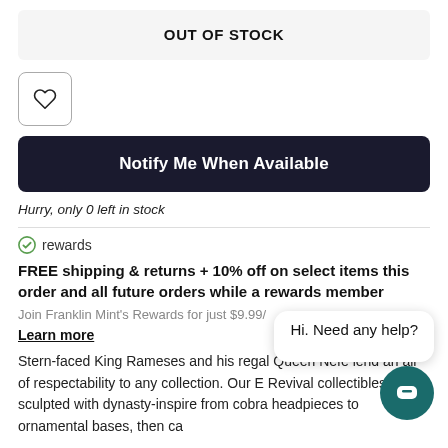OUT OF STOCK
[Figure (illustration): Wishlist heart button (square button with heart icon outline)]
Notify Me When Available
Hurry, only 0 left in stock
rewards
FREE shipping & returns + 10% off on select items this order and all future orders while a rewards member
Join Franklin Mint's Rewards for just $9.99/ ...
Learn more
Stern-faced King Rameses and his regal Queen Nefe... lend an air of respectability to any collection. Our E... Revival collectibles are sculpted with dynasty-inspire... from cobra headpieces to ornamental bases, then ca...
[Figure (illustration): Chat support bubble saying 'Hi. Need any help?' with a teal circular chat button]